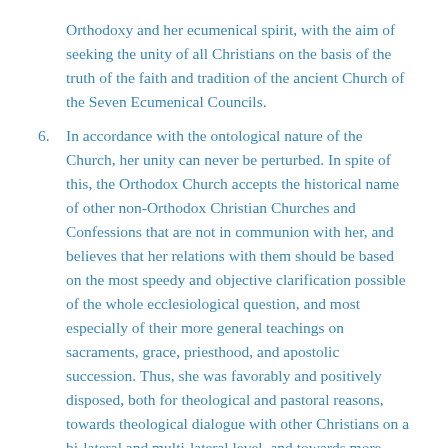Orthodoxy and her ecumenical spirit, with the aim of seeking the unity of all Christians on the basis of the truth of the faith and tradition of the ancient Church of the Seven Ecumenical Councils.
6. In accordance with the ontological nature of the Church, her unity can never be perturbed. In spite of this, the Orthodox Church accepts the historical name of other non-Orthodox Christian Churches and Confessions that are not in communion with her, and believes that her relations with them should be based on the most speedy and objective clarification possible of the whole ecclesiological question, and most especially of their more general teachings on sacraments, grace, priesthood, and apostolic succession. Thus, she was favorably and positively disposed, both for theological and pastoral reasons, towards theological dialogue with other Christians on a bi-lateral and multi-lateral level, and towards more general participation in the